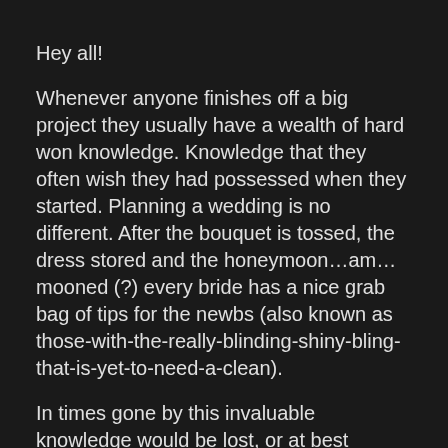Hey all!
Whenever anyone finishes off a big project they usually have a wealth of hard won knowledge. Knowledge that they often wish they had possessed when they started. Planning a wedding is no different. After the bouquet is tossed, the dress stored and the honeymoon…am…mooned (?) every bride has a nice grab bag of tips for the newbs (also known as those-with-the-really-blinding-shiny-bling-that-is-yet-to-need-a-clean).
In times gone by this invaluable knowledge would be lost, or at best shared between a small group of friends and family but in the 21st century we no longer have to let this knowledge dissolve into the ether! we can let the whole world know of our wisdom! And immortalise that wisdom on the